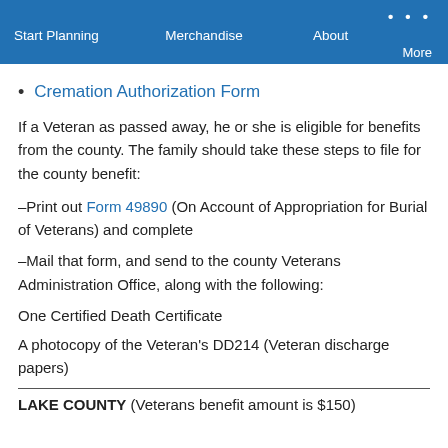Start Planning   Merchandise   About   More
Cremation Authorization Form
If a Veteran as passed away, he or she is eligible for benefits from the county. The family should take these steps to file for the county benefit:
–Print out Form 49890 (On Account of Appropriation for Burial of Veterans) and complete
–Mail that form, and send to the county Veterans Administration Office, along with the following:
One Certified Death Certificate
A photocopy of the Veteran's DD214 (Veteran discharge papers)
LAKE COUNTY (Veterans benefit amount is $150)